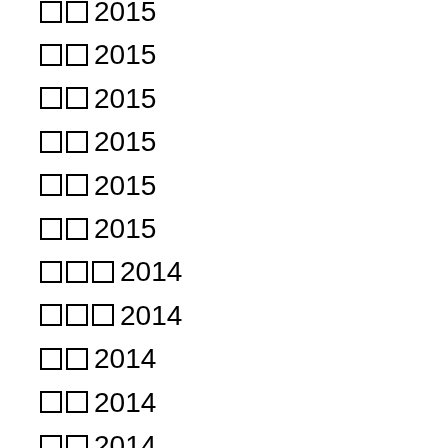□□ 2015
□□ 2015
□□ 2015
□□ 2015
□□ 2015
□□ 2015
□□□ 2014
□□□ 2014
□□ 2014
□□ 2014
□□ 2014
□□ 2014
□□ 2014
□□ 2014